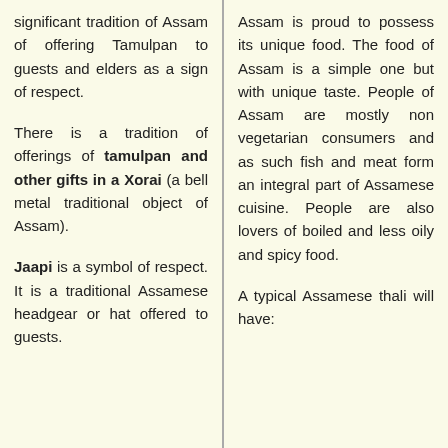significant tradition of Assam of offering Tamulpan to guests and elders as a sign of respect.
There is a tradition of offerings of tamulpan and other gifts in a Xorai (a bell metal traditional object of Assam).
Jaapi is a symbol of respect. It is a traditional Assamese headgear or hat offered to guests.
Assam is proud to possess its unique food. The food of Assam is a simple one but with unique taste. People of Assam are mostly non vegetarian consumers and as such fish and meat form an integral part of Assamese cuisine. People are also lovers of boiled and less oily and spicy food.
A typical Assamese thali will have: